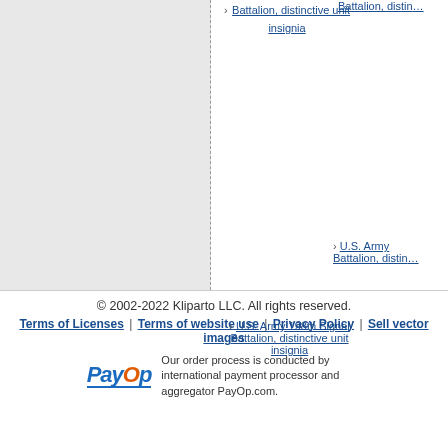› U.S. Army 198th Signal Battalion, distinctive unit insignia
› U.S. Army [Battalion], distinctive unit insignia (partially visible, top right)
› U.S. Army [Battalion], distinctive unit (partially visible, mid right)
© 2002-2022 Kliparto LLC. All rights reserved. | Terms of Licenses | Terms of website use | Privacy Policy | Sell vector images
Our order process is conducted by international payment processor and aggregator PayOp.com.